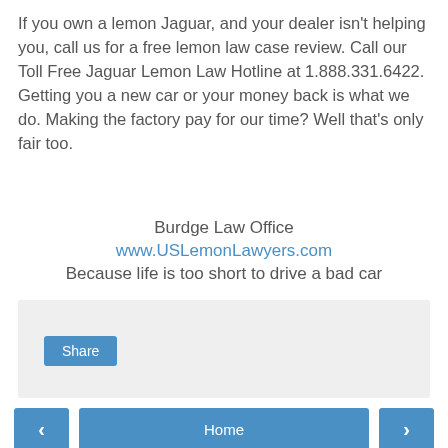If you own a lemon Jaguar, and your dealer isn't helping you, call us for a free lemon law case review. Call our Toll Free Jaguar Lemon Law Hotline at 1.888.331.6422. Getting you a new car or your money back is what we do. Making the factory pay for our time? Well that's only fair too.
Burdge Law Office
www.USLemonLawyers.com
Because life is too short to drive a bad car
[Figure (other): Social share widget area with Share button on light gray background]
[Figure (other): Navigation row with left arrow button, Home button, and right arrow button; View web version link; Powered by Blogger footer]